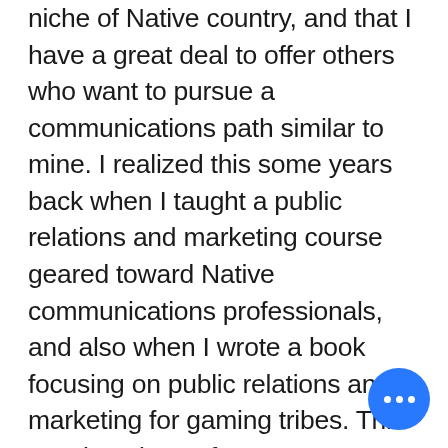niche of Native country, and that I have a great deal to offer others who want to pursue a communications path similar to mine. I realized this some years back when I taught a public relations and marketing course geared toward Native communications professionals, and also when I wrote a book focusing on public relations and marketing for gaming tribes. This passing along of my communications skills and knowledge isn't always apparent to me because I honestly don't think about it a whole lot when I'm actually doing it. It's only when I talk or write about it that I realize I have this knowledge and accompanying skills, and that as a leader in my field this should be shared.